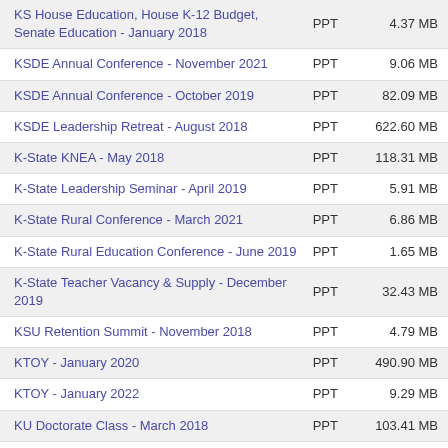| Name | Type | Size |
| --- | --- | --- |
| KS House Education, House K-12 Budget, Senate Education - January 2018 | PPT | 4.37 MB |
| KSDE Annual Conference - November 2021 | PPT | 9.06 MB |
| KSDE Annual Conference - October 2019 | PPT | 82.09 MB |
| KSDE Leadership Retreat - August 2018 | PPT | 622.60 MB |
| K-State KNEA - May 2018 | PPT | 118.31 MB |
| K-State Leadership Seminar - April 2019 | PPT | 5.91 MB |
| K-State Rural Conference - March 2021 | PPT | 6.86 MB |
| K-State Rural Education Conference - June 2019 | PPT | 1.65 MB |
| K-State Teacher Vacancy & Supply - December 2019 | PPT | 32.43 MB |
| KSU Retention Summit - November 2018 | PPT | 4.79 MB |
| KTOY - January 2020 | PPT | 490.90 MB |
| KTOY - January 2022 | PPT | 9.29 MB |
| KU Doctorate Class - March 2018 | PPT | 103.41 MB |
| KU Summer Conference 2019 | PPT | 2.61 MB |